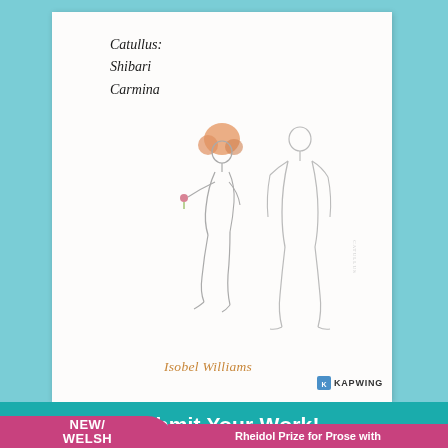Catullus:
Shibari
Carmina
[Figure (illustration): Pencil sketch of two figures: a smaller woman with curly orange-tinted hair leaning forward, and a taller man standing upright, both lightly drawn in grey pencil lines.]
Isobel Williams
[Figure (logo): Kapwing logo with small icon and bold text KAPWING]
Submit Your Work!
Rheidol Prize for Prose with a Welsh Theme or Setting
NEW WELSH WRITING